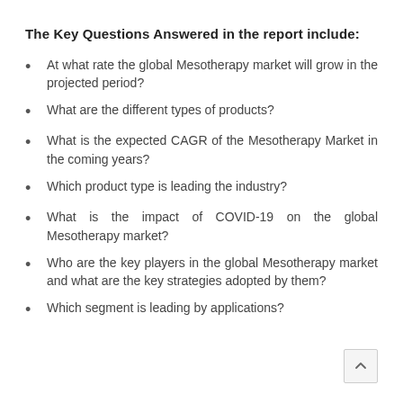The Key Questions Answered in the report include:
At what rate the global Mesotherapy market will grow in the projected period?
What are the different types of products?
What is the expected CAGR of the Mesotherapy Market in the coming years?
Which product type is leading the industry?
What is the impact of COVID-19 on the global Mesotherapy market?
Who are the key players in the global Mesotherapy market and what are the key strategies adopted by them?
Which segment is leading by applications?